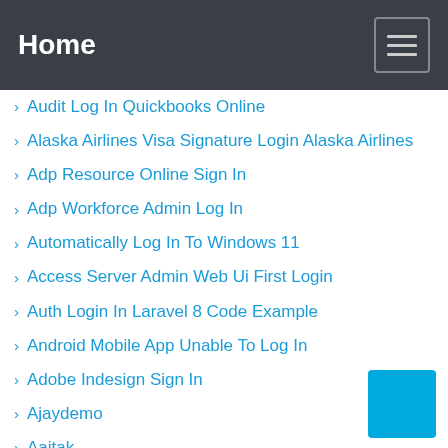Home
Audit Log In Quickbooks Online
Alaska Airlines Visa Signature Login Alaska Airlines
Adp Resource Online Sign In
Adp Workforce Admin Log In
Automatically Log In To Windows 11
Access Server Admin Web Ui First Login
Auth Login In Laravel 8 Code Example
Android Mobile App Unable To Log In
Adobe Indesign Sign In
Ajaydemo
Aajtak